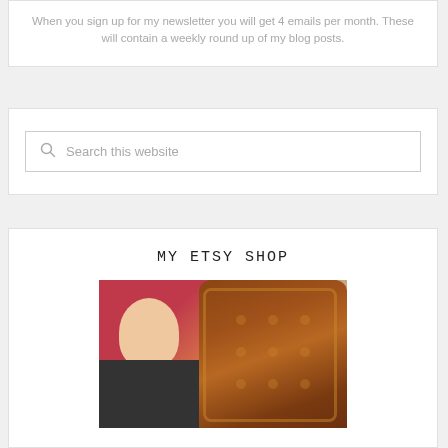When you sign up for my newsletter you will get 4 emails per month. These will contain a weekly round up of my blog posts.
Search this website
MY ETSY SHOP
[Figure (photo): Photo of a woman with long red hair sitting in a tufted brown leather ornate chair]